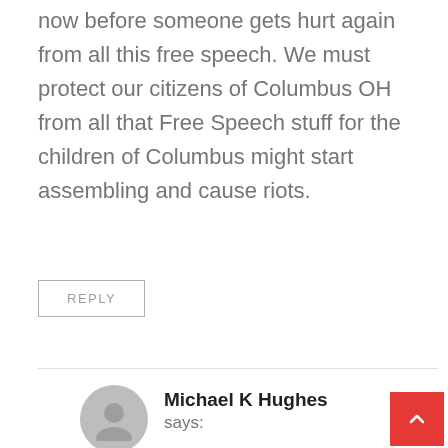now before someone gets hurt again from all this free speech. We must protect our citizens of Columbus OH from all that Free Speech stuff for the children of Columbus might start assembling and cause riots.
REPLY
Michael K Hughes says:
May 15, 2018 at 1:30 pm
Are you really serious ab attacking the right to free